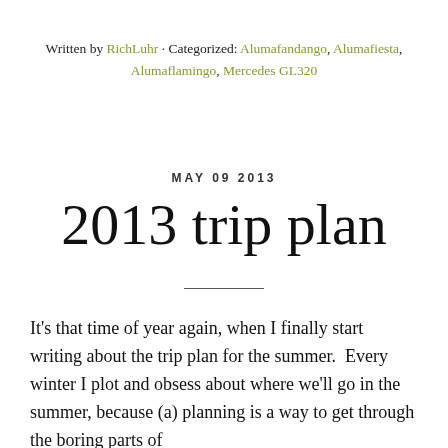Written by RichLuhr · Categorized: Alumafandango, Alumafiesta, Alumaflamingo, Mercedes GL320
MAY 09 2013
2013 trip plan
It's that time of year again, when I finally start writing about the trip plan for the summer.  Every winter I plot and obsess about where we'll go in the summer, because (a) planning is a way to get through the boring parts of